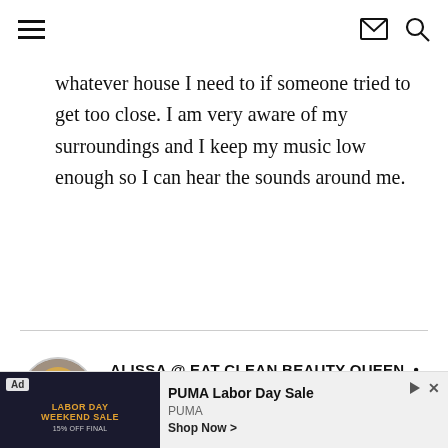Navigation header with hamburger menu, email icon, and search icon
whatever house I need to if someone tried to get too close. I am very aware of my surroundings and I keep my music low enough so I can hear the sounds around me.
ALISSA @ EAT CLEAN BEAUTY QUEEN •
FEBRUARY 12, 2014 AT 6:38 PM • REPLY
[Figure (photo): Circular avatar photo of a blonde woman smiling]
...dark ...lly if (partially visible comment text)
[Figure (infographic): Ad banner: PUMA Labor Day Sale advertisement with PUMA branding and Shop Now button]